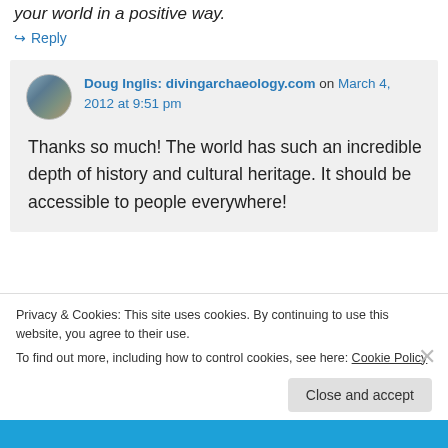your world in a positive way.
↳ Reply
Doug Inglis: divingarchaeology.com on March 4, 2012 at 9:51 pm
Thanks so much! The world has such an incredible depth of history and cultural heritage. It should be accessible to people everywhere!
Privacy & Cookies: This site uses cookies. By continuing to use this website, you agree to their use. To find out more, including how to control cookies, see here: Cookie Policy
Close and accept